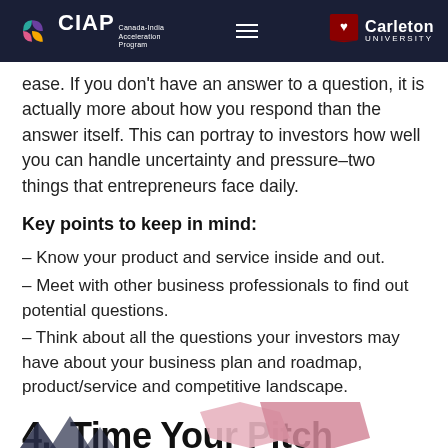CIAP Canada-India Acceleration Program | Carleton University
ease. If you don't have an answer to a question, it is actually more about how you respond than the answer itself. This can portray to investors how well you can handle uncertainty and pressure–two things that entrepreneurs face daily.
Key points to keep in mind:
– Know your product and service inside and out.
– Meet with other business professionals to find out potential questions.
– Think about all the questions your investors may have about your business plan and roadmap, product/service and competitive landscape.
4.  Time Your Pitch
[Figure (illustration): Partial view of decorative shapes/icons at the bottom of the page, including triangular mountain-like shapes on the left and a pink hexagon shape on the right, partially cut off.]